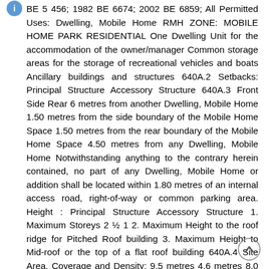BE 5 456; 1982 BE 6674; 2002 BE 6859; All Permitted Uses: Dwelling, Mobile Home RMH ZONE: MOBILE HOME PARK RESIDENTIAL One Dwelling Unit for the accommodation of the owner/manager Common storage areas for the storage of recreational vehicles and boats Ancillary buildings and structures 640A.2 Setbacks: Principal Structure Accessory Structure 640A.3 Front Side Rear 6 metres from another Dwelling, Mobile Home 1.50 metres from the side boundary of the Mobile Home Space 1.50 metres from the rear boundary of the Mobile Home Space 4.50 metres from any Dwelling, Mobile Home Notwithstanding anything to the contrary herein contained, no part of any Dwelling, Mobile Home or addition shall be located within 1.80 metres of an internal access road, right-of-way or common parking area. Height : Principal Structure Accessory Structure 1. Maximum Storeys 2 ½ 1 2. Maximum Height to the roof ridge for Pitched Roof building 3. Maximum Height to Mid-roof or the top of a flat roof building 640A.4 Site Area, Coverage and Density: 9.5 metres 4.6 metres 8.0 metres 3.75 metres 1. The minimum site area for a Mobile Home Park shall be 2 hectares. 2. The Dwelling, Mobile Home and additions to it, exclusive of carports shall not cover more than 35% of the